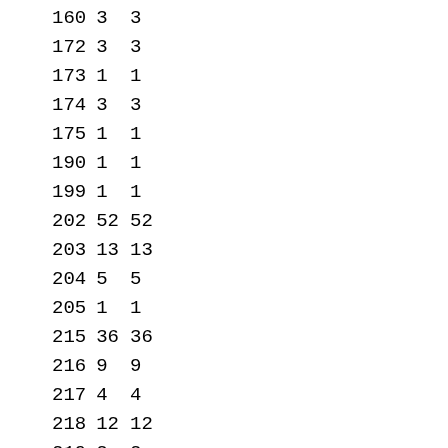| 160 | 3 | 3 |
| 172 | 3 | 3 |
| 173 | 1 | 1 |
| 174 | 3 | 3 |
| 175 | 1 | 1 |
| 190 | 1 | 1 |
| 199 | 1 | 1 |
| 202 | 52 | 52 |
| 203 | 13 | 13 |
| 204 | 5 | 5 |
| 205 | 1 | 1 |
| 215 | 36 | 36 |
| 216 | 9 | 9 |
| 217 | 4 | 4 |
| 218 | 12 | 12 |
| 219 | 2 | 2 |
| 220 | 1 | 1 |
| 243 | 22 | 22 |
| 244 | 5 | 5 |
| 245 | 2 | 2 |